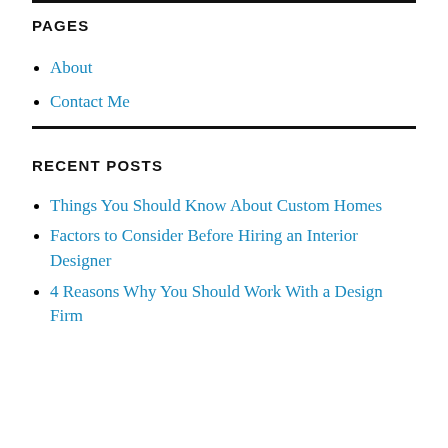PAGES
About
Contact Me
RECENT POSTS
Things You Should Know About Custom Homes
Factors to Consider Before Hiring an Interior Designer
4 Reasons Why You Should Work With a Design Firm